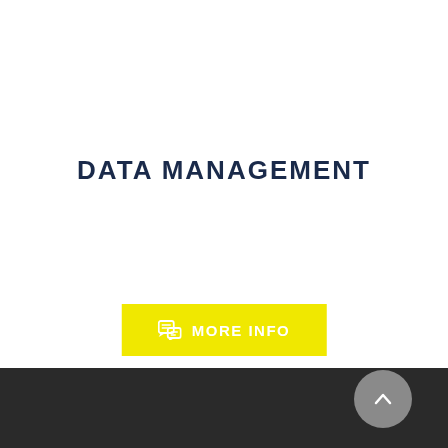DATA MANAGEMENT
[Figure (infographic): Yellow button with chat icon and text MORE INFO]
[Figure (infographic): Dark footer area with gray circular scroll-to-top button containing an upward arrow]